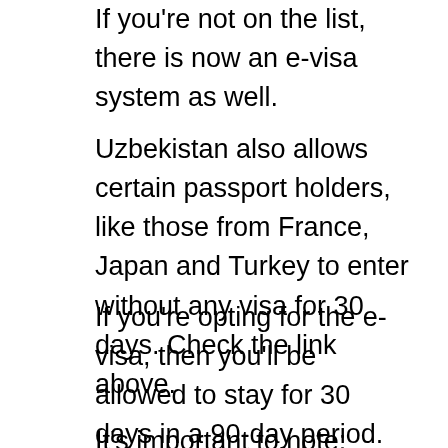If you're not on the list, there is now an e-visa system as well.
Uzbekistan also allows certain passport holders, like those from France, Japan and Turkey to enter without any visa for 30 days. Check the link above.
If you're opting for the e-visa, then you'll be allowed to stay for 30 days in a 90-day period. It'll take around 3 days to get your visa and costs 20 USD.
It's important to note: